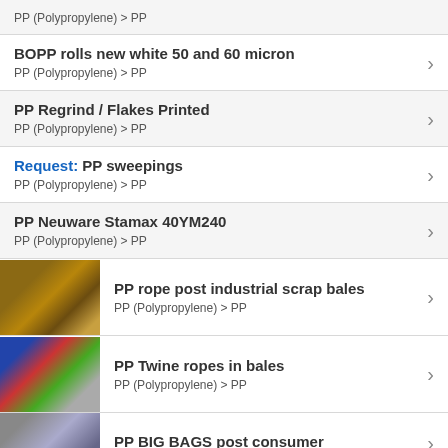PP (Polypropylene) > PP
BOPP rolls new white 50 and 60 micron
PP (Polypropylene) > PP
PP Regrind / Flakes Printed
PP (Polypropylene) > PP
Request: PP sweepings
PP (Polypropylene) > PP
PP Neuware Stamax 40YM240
PP (Polypropylene) > PP
PP rope post industrial scrap bales
PP (Polypropylene) > PP
PP Twine ropes in bales
PP (Polypropylene) > PP
PP BIG BAGS post consumer